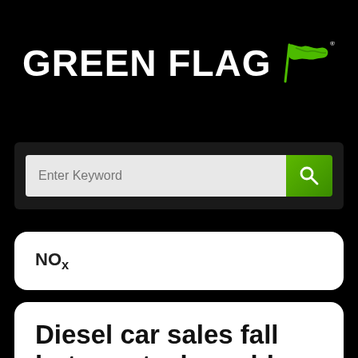[Figure (logo): Green Flag logo: white bold text 'GREEN FLAG' with a green waving flag icon to the right, on black background]
[Figure (screenshot): Search bar with placeholder text 'Enter Keyword' and a green search button with magnifying glass icon]
NOx
Diesel car sales fall but new tech could